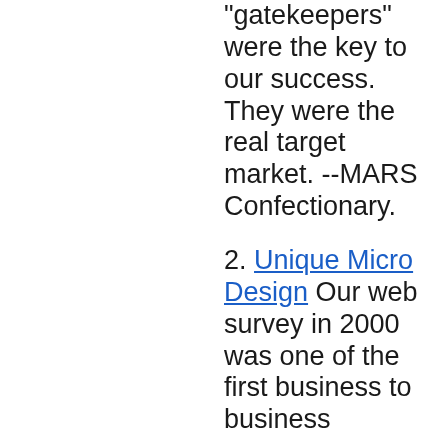"gatekeepers" were the key to our success. They were the real target market. --MARS Confectionary.
2. Unique Micro Design Our web survey in 2000 was one of the first business to business